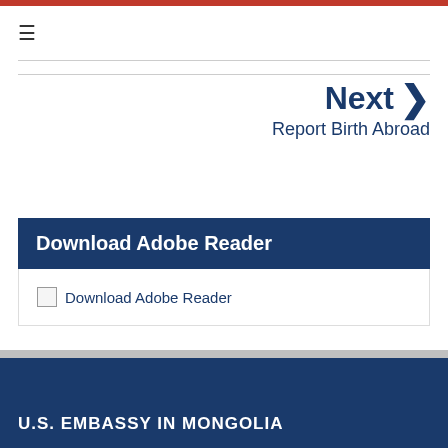≡
Next ❯
Report Birth Abroad
Download Adobe Reader
[Figure (other): Broken image placeholder for Download Adobe Reader icon/badge]
U.S. EMBASSY IN MONGOLIA